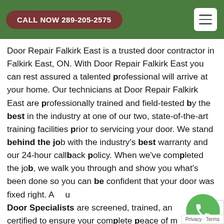CALL NOW 289-205-2575
Door Repair Falkirk East is a trusted door contractor in Falkirk East, ON. With Door Repair Falkirk East you can rest assured a talented professional will arrive at your home. Our technicians at Door Repair Falkirk East are professionally trained and field-tested by the best in the industry at one of our two, state-of-the-art training facilities prior to servicing your door. We stand behind the job with the industry's best warranty and our 24-hour callback policy. When we've completed the job, we walk you through and show you what's been done so you can be confident that your door was fixed right. All our Door Specialists are screened, trained, and certified to ensure your complete peace of mind.
[Figure (photo): Bottom strip showing partial photo of door repair service]
Privacy · Terms